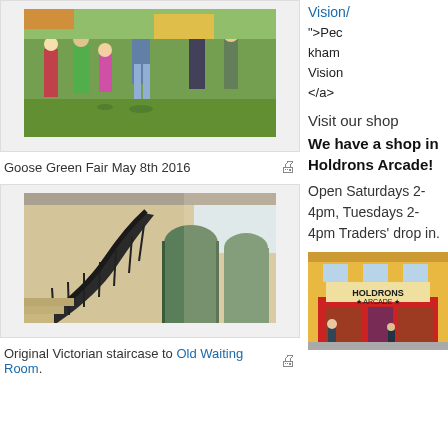[Figure (photo): Outdoor fair scene with people at Goose Green Fair May 8th 2016]
Goose Green Fair May 8th 2016
[Figure (photo): Original Victorian staircase with ornate ironwork railing leading to Old Waiting Room]
Original Victorian staircase to Old Waiting Room.
Vision/
">Peckham Vision</a>
Visit our shop
We have a shop in Holdrons Arcade! Open Saturdays 2-4pm, Tuesdays 2-4pm Traders' drop in.
[Figure (photo): Holdrons Arcade storefront with red shopfront and sign reading HOLDRONS ARCADE]